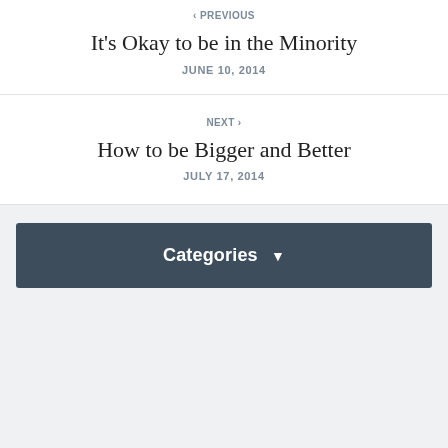< PREVIOUS
It's Okay to be in the Minority
JUNE 10, 2014
NEXT >
How to be Bigger and Better
JULY 17, 2014
Categories ▼